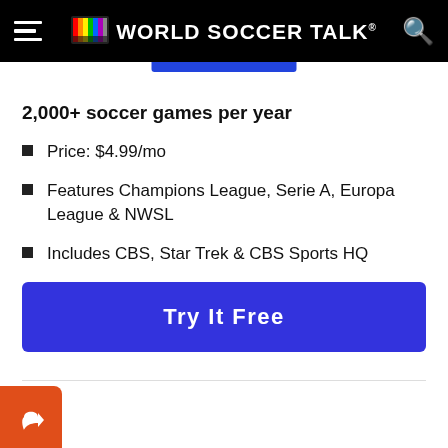World Soccer Talk
2,000+ soccer games per year
Price: $4.99/mo
Features Champions League, Serie A, Europa League & NWSL
Includes CBS, Star Trek & CBS Sports HQ
Try It Free